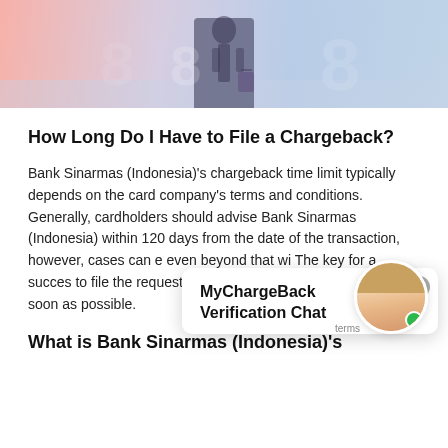[Figure (photo): Hero image of a person with luggage in an airport or travel setting, with pink/blue tones and a large number 8 visible]
How Long Do I Have to File a Chargeback?
Bank Sinarmas (Indonesia)'s chargeback time limit typically depends on the card company's terms and conditions. Generally, cardholders should advise Bank Sinarmas (Indonesia) within 120 days from the date of the transaction, however, cases can even beyond that wi The key for a succes to file the request with Bank Sinarmas (Indonesia) as soon as possible.
[Figure (screenshot): MyChargeBack Verification Chat popup overlay with close button and female avatar with green online indicator]
What is Bank Sinarmas (Indonesia)'s